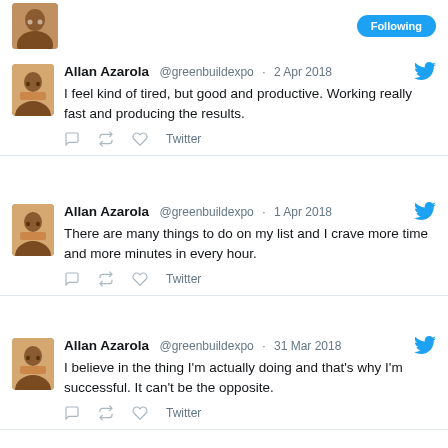[Figure (screenshot): Partial tweet from Allan Azarola at top with avatar and blue button visible]
Allan Azarola @greenbuildexpo · 2 Apr 2018
I feel kind of tired, but good and productive. Working really fast and producing the results.
Allan Azarola @greenbuildexpo · 1 Apr 2018
There are many things to do on my list and I crave more time and more minutes in every hour.
Allan Azarola @greenbuildexpo · 31 Mar 2018
I believe in the thing I'm actually doing and that's why I'm successful. It can't be the opposite.